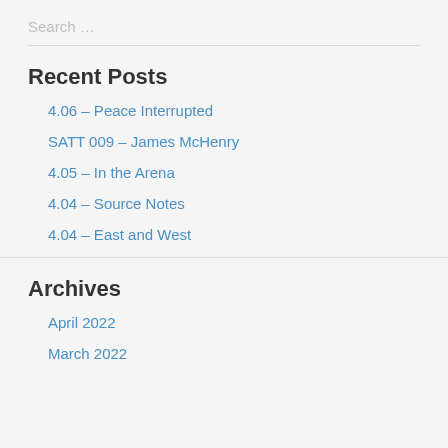Search …
Recent Posts
4.06 – Peace Interrupted
SATT 009 – James McHenry
4.05 – In the Arena
4.04 – Source Notes
4.04 – East and West
Archives
April 2022
March 2022